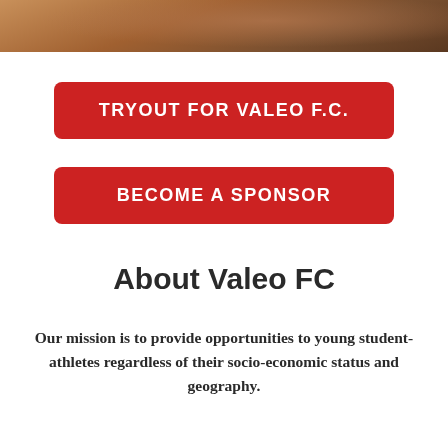[Figure (photo): Partial photo strip at top showing a soccer/football player in red uniform, cropped to show legs and feet]
TRYOUT FOR VALEO F.C.
BECOME A SPONSOR
About Valeo FC
Our mission is to provide opportunities to young student-athletes regardless of their socio-economic status and geography.